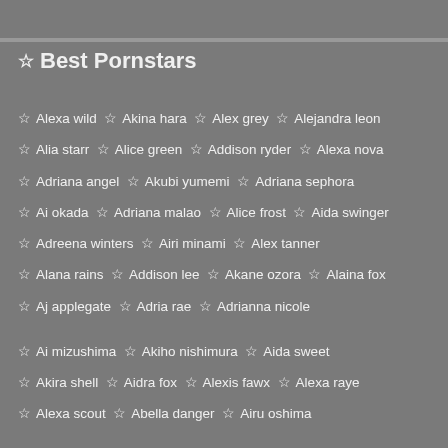☆ Best Pornstars
☆ Alexa wild  ☆ Akina hara  ☆ Alex grey  ☆ Alejandra leon
☆ Alia starr  ☆ Alice green  ☆ Addison ryder  ☆ Alexa nova
☆ Adriana angel  ☆ Akubi yumemi  ☆ Adriana sephora
☆ Ai okada  ☆ Adriana malao  ☆ Alice frost  ☆ Aida swinger
☆ Adreena winters  ☆ Airi minami  ☆ Alex tanner
☆ Alana rains  ☆ Addison lee  ☆ Akane ozora  ☆ Alaina fox
☆ Aj applegate  ☆ Adria rae  ☆ Adrianna nicole
☆ Ai mizushima  ☆ Akiho nishimura  ☆ Aida sweet
☆ Akira shell  ☆ Aidra fox  ☆ Alexis fawx  ☆ Alexa raye
☆ Alexa scout  ☆ Abella danger  ☆ Airu oshima